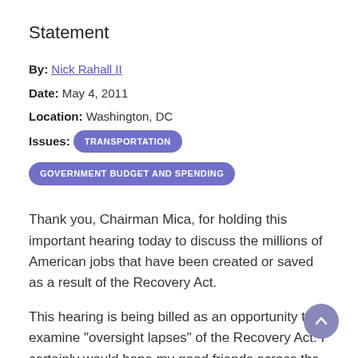Statement
By: Nick Rahall II
Date: May 4, 2011
Location: Washington, DC
Issues: TRANSPORTATION
GOVERNMENT BUDGET AND SPENDING
Thank you, Chairman Mica, for holding this important hearing today to discuss the millions of American jobs that have been created or saved as a result of the Recovery Act.
This hearing is being billed as an opportunity to examine "oversight lapses" of the Recovery Act. I certainly would hope my good friends across the